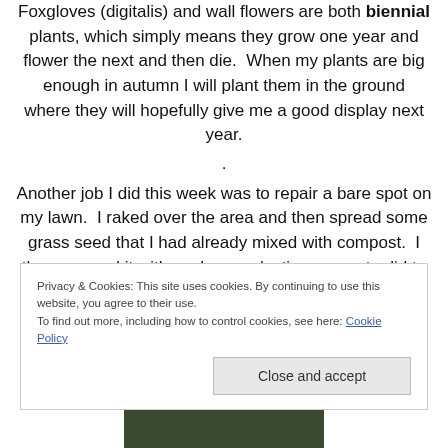Foxgloves (digitalis) and wall flowers are both biennial plants, which simply means they grow one year and flower the next and then die.  When my plants are big enough in autumn I will plant them in the ground where they will hopefully give me a good display next year.
.
Another job I did this week was to repair a bare spot on my lawn.  I raked over the area and then spread some grass seed that I had already mixed with compost.  I then covered it with my heavy plastic propagator lid to protect it
Privacy & Cookies: This site uses cookies. By continuing to use this website, you agree to their use.
To find out more, including how to control cookies, see here: Cookie Policy
Close and accept
[Figure (photo): Partial view of a garden photo at bottom of page]